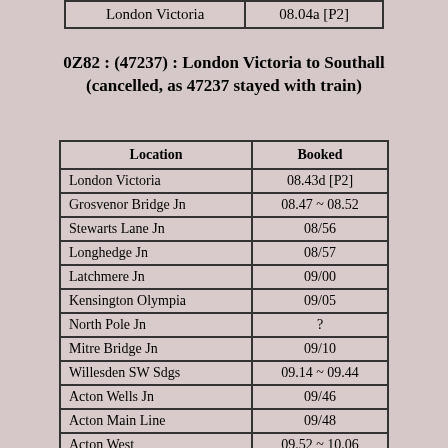| London Victoria | 08.04a [P2] |
| --- | --- |
0Z82 : (47237) :  London Victoria to Southall (cancelled, as 47237 stayed with train)
| Location | Booked |
| --- | --- |
| London Victoria | 08.43d [P2] |
| Grosvenor Bridge Jn | 08.47 ~ 08.52 |
| Stewarts Lane Jn | 08/56 |
| Longhedge Jn | 08/57 |
| Latchmere Jn | 09/00 |
| Kensington Olympia | 09/05 |
| North Pole Jn | ? |
| Mitre Bridge Jn | 09/10 |
| Willesden SW Sdgs | 09.14 ~ 09.44 |
| Acton Wells Jn | 09/46 |
| Acton Main Line | 09/48 |
| Acton West | 09.52 ~ 10.06 |
| West Ealing | ? |
| Southall East Jn | 10/12 |